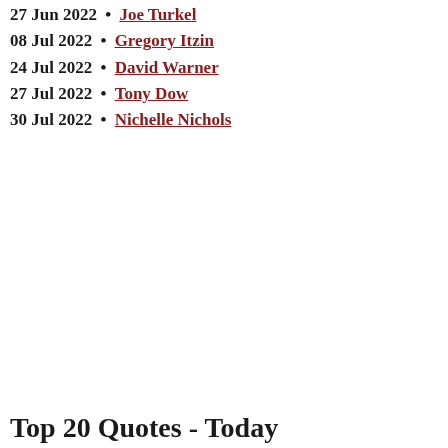27 Jun 2022 • Joe Turkel
08 Jul 2022 • Gregory Itzin
24 Jul 2022 • David Warner
27 Jul 2022 • Tony Dow
30 Jul 2022 • Nichelle Nichols
Top 20 Quotes - Today